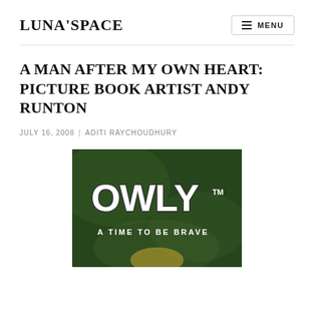LUNA'SPACE
A MAN AFTER MY OWN HEART: PICTURE BOOK ARTIST ANDY RUNTON
JULY 16, 2008 | ADITI RAYCHOUDHURY
[Figure (photo): Cover of the graphic novel 'Owly: A Time to Be Brave' by Andy Runton, showing the Owly title in large white lettering on a dark green background with the subtitle 'A Time to Be Brave' in smaller white text.]